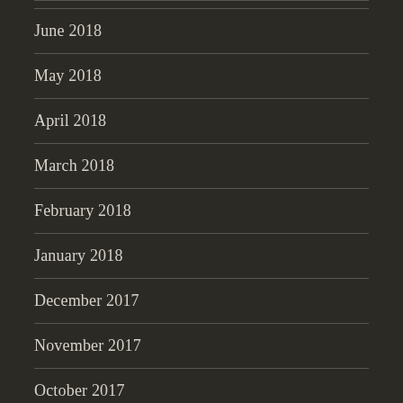June 2018
May 2018
April 2018
March 2018
February 2018
January 2018
December 2017
November 2017
October 2017
September 2017
August 2017